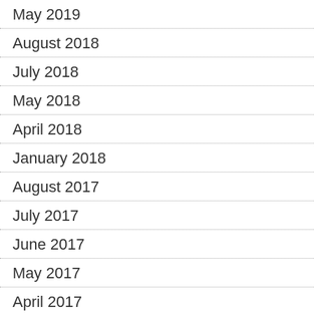May 2019
August 2018
July 2018
May 2018
April 2018
January 2018
August 2017
July 2017
June 2017
May 2017
April 2017
March 2017